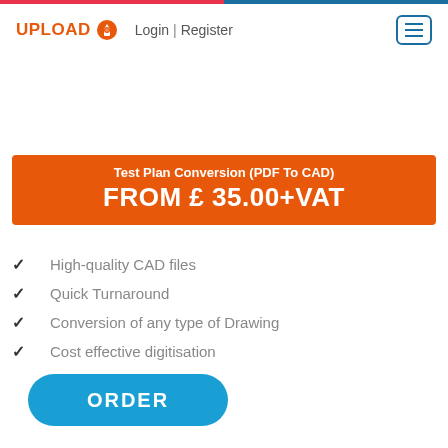UPLOAD | Login | Register
Test Plan Conversion (PDF To CAD)
FROM £ 35.00+VAT
High-quality CAD files
Quick Turnaround
Conversion of any type of Drawing
Cost effective digitisation
ORDER